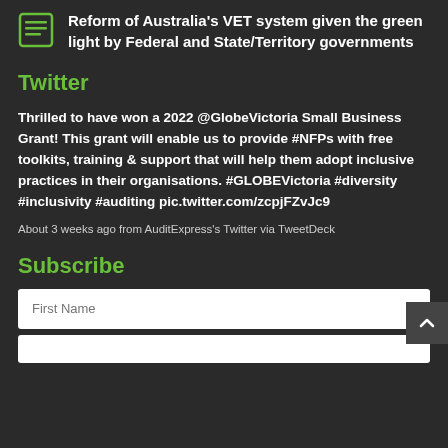Reform of Australia's VET system given the green light by Federal and State/Territory governments
Twitter
Thrilled to have won a 2022 @GlobeVictoria Small Business Grant! This grant will enable us to provide #NFPs with free toolkits, training & support that will help them adopt inclusive practices in their organisations. #GLOBEVictoria #diversity #inclusivity #auditing pic.twitter.com/zcpjFZvJc9
About 3 weeks ago from AuditExpress's Twitter via TweetDeck
Subscribe
First Name